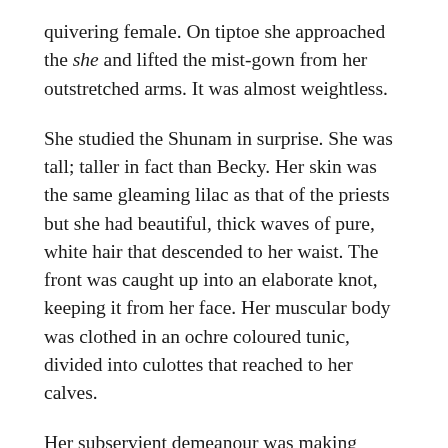quivering female. On tiptoe she approached the she and lifted the mist-gown from her outstretched arms. It was almost weightless.
She studied the Shunam in surprise. She was tall; taller in fact than Becky. Her skin was the same gleaming lilac as that of the priests but she had beautiful, thick waves of pure, white hair that descended to her waist. The front was caught up into an elaborate knot, keeping it from her face. Her muscular body was clothed in an ochre coloured tunic, divided into culottes that reached to her calves.
Her subservient demeanour was making Becky uncomfortable. She floated the mist-gown onto the bed and said, ‘Thank you so much for this. I thought I would need an extra-long one as I am so much taller than those males, but I was wrong! She smiled at the She...